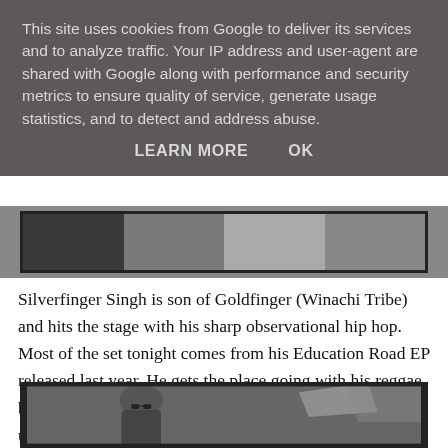This site uses cookies from Google to deliver its services and to analyze traffic. Your IP address and user-agent are shared with Google along with performance and security metrics to ensure quality of service, generate usage statistics, and to detect and address abuse.
LEARN MORE   OK
[Figure (photo): Black and white photo strip of performers on stage]
Silverfinger Singh is son of Goldfinger (Winachi Tribe) and hits the stage with his sharp observational hip hop. Most of the set tonight comes from his Education Road EP released last year. He gets the place going with his reggae bhangra tinged beats and his cool delivery. A new tune is unleashed upon us named Ekta and it works big time. A great start to the music on offer.
[Figure (photo): Black and white photo of a man wearing a turban and sunglasses]